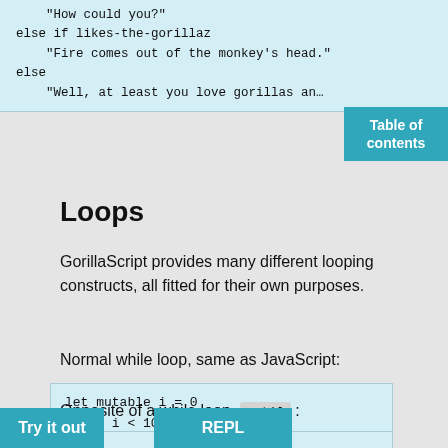[Figure (screenshot): Code snippet showing else if / else conditional block with gorillaz-themed string examples]
Table of contents
Loops
GorillaScript provides many different looping constructs, all fitted for their own purposes.
Normal while loop, same as JavaScript:
[Figure (screenshot): Code block: let mutable i = 0 / while i < 10 / console.log i / i += 1]
Opposite of a while loop, until :
[Figure (screenshot): Code block starting with: let = 0]
Try it out
REPL